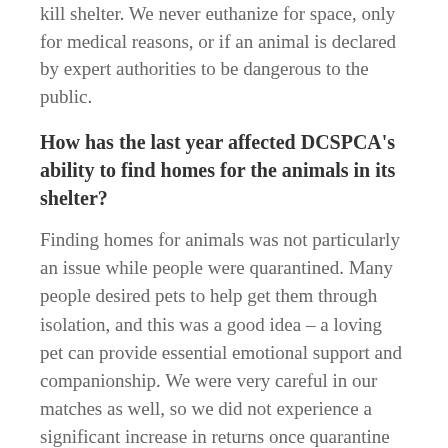kill shelter. We never euthanize for space, only for medical reasons, or if an animal is declared by expert authorities to be dangerous to the public.
How has the last year affected DCSPCA's ability to find homes for the animals in its shelter?
Finding homes for animals was not particularly an issue while people were quarantined. Many people desired pets to help get them through isolation, and this was a good idea – a loving pet can provide essential emotional support and companionship. We were very careful in our matches as well, so we did not experience a significant increase in returns once quarantine ended, as some other